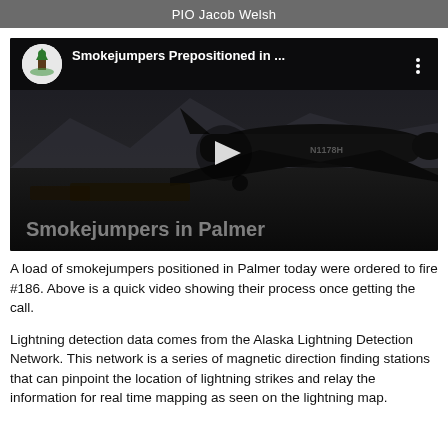PIO Jacob Welsh
[Figure (screenshot): YouTube-style video thumbnail showing a large dark aircraft (N1178H) on a tarmac at night/dusk with mountains in background. Video title overlay reads 'Smokejumpers Prepositioned in ...' with Division of Forestry logo. Bottom overlay reads 'Smokejumpers in Palmer'. Play button visible in center.]
A load of smokejumpers positioned in Palmer today were ordered to fire #186. Above is a quick video showing their process once getting the call.
Lightning detection data comes from the Alaska Lightning Detection Network. This network is a series of magnetic direction finding stations that can pinpoint the location of lightning strikes and relay the information for real time mapping as seen on the lightning map.